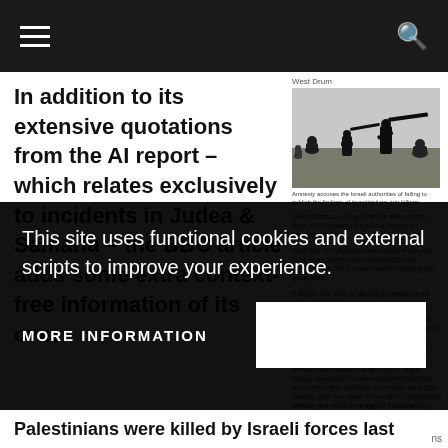In addition to its extensive quotations from the AI report – which relates exclusively to incidents in Judea & Samaria – the BBC article adds some extra context-free information of its own
[Figure (photo): Silhouettes of soldiers pointing rifles, military scene]
Amnesty accuses the Israeli authorities of failing to publish the findings of investigations into killings
Israeli forces are using excessive and reckless force in the occupied West Bank, Amnesty International says.
More than 40 Palestinians were killed in the past three years and the use of lethal force rose significantly in 2013, a report by the human rights group says.
It alleges that order is allowing its soldiers to act with virtual impunity.
Israel said Amnesty had ignored all increases in Palestinian violence and showed a complete lack of understanding of its operational challenges.
'Needless loss of life'
Amnesty International's Israel section Trigger Happy, says there has been mounting bloodshed and human rights violations in the West Bank since January 2011 as a result of the use of 'unnecessary, arbitrary and brutal force against Palestinians' by Israeli soldiers and police.
Mid-East crisis
Israeli-Palestinian talks
Little hope for talks
Protest profiles
Core issues
This site uses functional cookies and external scripts to improve your experience.
MORE INFORMATION
Palestinians were killed by Israeli forces last